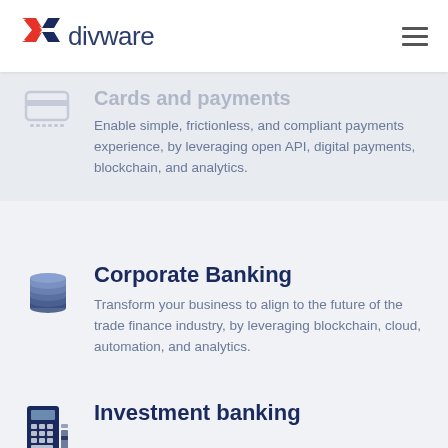divware
Cards and payments
Enable simple, frictionless, and compliant payments experience, by leveraging open API, digital payments, blockchain, and analytics.
Corporate Banking
Transform your business to align to the future of the trade finance industry, by leveraging blockchain, cloud, automation, and analytics.
Investment banking